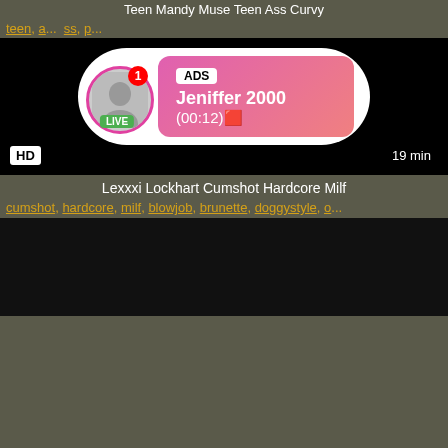Teen Mandy Muse Teen Ass Curvy
teen, a... ss, p...
[Figure (screenshot): Black video player with HD badge bottom-left and 19 min badge bottom-right, overlaid with an ad bubble showing a live avatar with LIVE badge, ADS label, name Jeniffer 2000, and time (00:12)]
Lexxxi Lockhart Cumshot Hardcore Milf
cumshot, hardcore, milf, blowjob, brunette, doggystyle, o...
[Figure (screenshot): Black video player thumbnail]